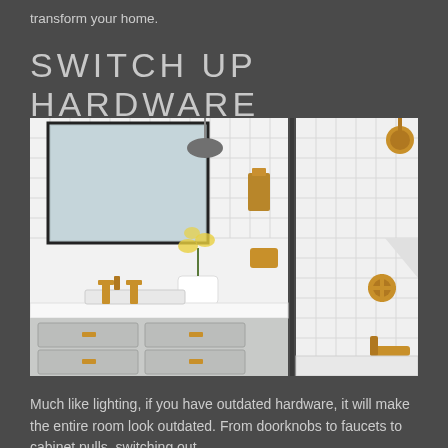transform your home.
SWITCH UP HARDWARE
[Figure (photo): Two bathroom photos side by side showing modern bathroom with white subway tile, gray vanity, gold/brass hardware including faucets, pendant light, toilet paper holder, and a shower area with brass shower fixtures against white subway tile.]
Much like lighting, if you have outdated hardware, it will make the entire room look outdated. From doorknobs to faucets to cabinet pulls, switching out